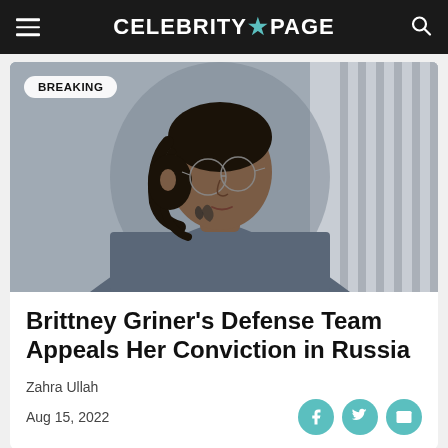CELEBRITY★PAGE
[Figure (photo): Brittney Griner photographed in profile view, wearing glasses and a blue shirt, with braided hair and a neck tattoo visible. Labeled with a BREAKING badge in the top-left corner.]
Brittney Griner's Defense Team Appeals Her Conviction in Russia
Zahra Ullah
Aug 15, 2022